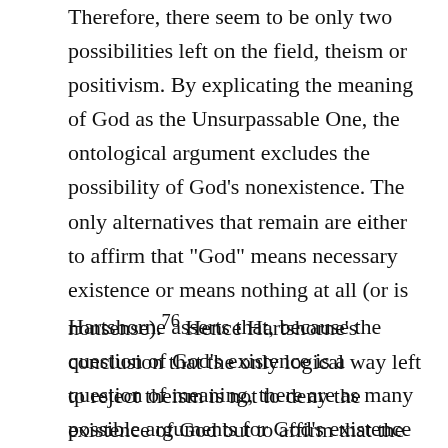Therefore, there seem to be only two possibilities left on the field, theism or positivism. By explicating the meaning of God as the Unsurpassable One, the ontological argument excludes the possibility of God's nonexistence. The only alternatives that remain are either to affirm that "God" means necessary existence or means nothing at all (or is nonsense).76 Hence Hartshorne's conclusion that the only logical way left to reject theism is not to deny the existence of God but to affirm that the very idea of God is either vacuous or selfcontradictory.77
Hartshorne asserts that, because the question of God's existence is a question of meaning, there are as many possible arguments for God's existence as there are purely general categories. Any such conception as knowledge, value, actuality, truth, goodness, or beauty could, by proper analysis, be shown to imply the others and the necessity of God's existence. Therefore, the o...